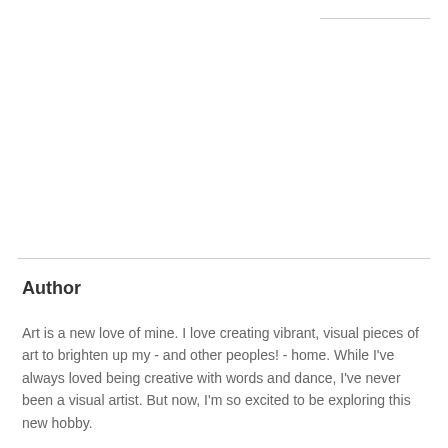Author
Art is a new love of mine. I love creating vibrant, visual pieces of art to brighten up my - and other peoples! - home. While I've always loved being creative with words and dance, I've never been a visual artist. But now, I'm so excited to be exploring this new hobby.